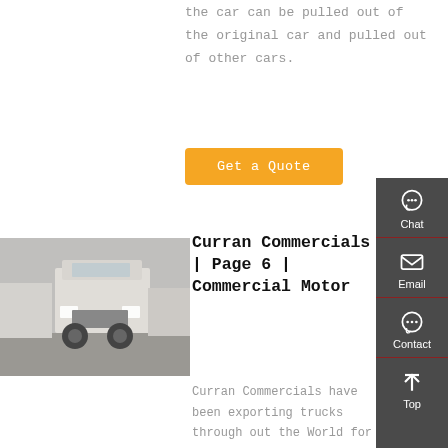the car can be pulled out of the original car and pulled out of other cars.
[Figure (other): Orange 'Get a Quote' button]
[Figure (photo): Front view of a large white commercial truck/semi-truck in a parking area with other trucks visible in background]
Curran Commercials | Page 6 | Commercial Motor
Curran Commercials have been exporting trucks through out the World for a number of years now and have built up